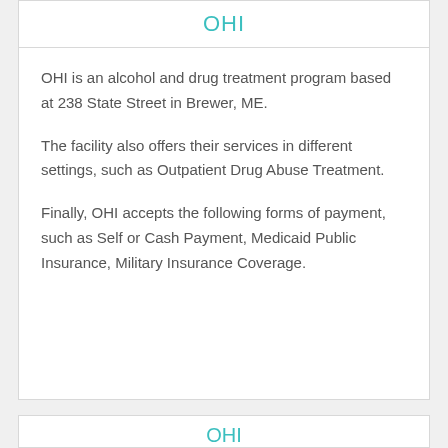OHI
OHI is an alcohol and drug treatment program based at 238 State Street in Brewer, ME.
The facility also offers their services in different settings, such as Outpatient Drug Abuse Treatment.
Finally, OHI accepts the following forms of payment, such as Self or Cash Payment, Medicaid Public Insurance, Military Insurance Coverage.
OHI